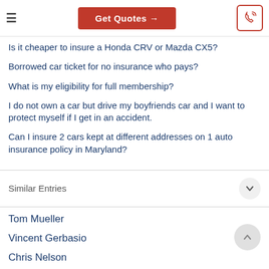Get Quotes →
Is it cheaper to insure a Honda CRV or Mazda CX5?
Borrowed car ticket for no insurance who pays?
What is my eligibility for full membership?
I do not own a car but drive my boyfriends car and I want to protect myself if I get in an accident.
Can I insure 2 cars kept at different addresses on 1 auto insurance policy in Maryland?
Similar Entries
Tom Mueller
Vincent Gerbasio
Chris Nelson
Lori Rickert